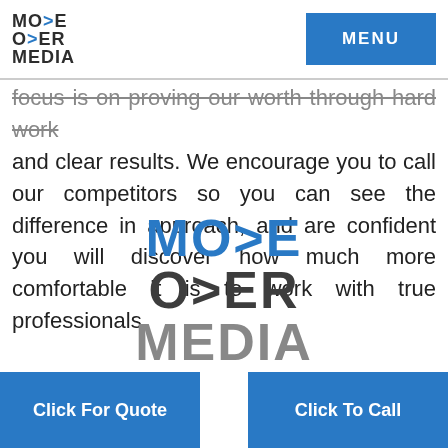[Figure (logo): Move Over Media logo — small version in header, top left]
MENU
focus is on proving our worth through hard work and clear results. We encourage you to call our competitors so you can see the difference in approach, and are confident you will discover how much more comfortable it is to work with true professionals.
[Figure (logo): Move Over Media logo — large centered version, blue and grey]
Click For Quote
Click To Call